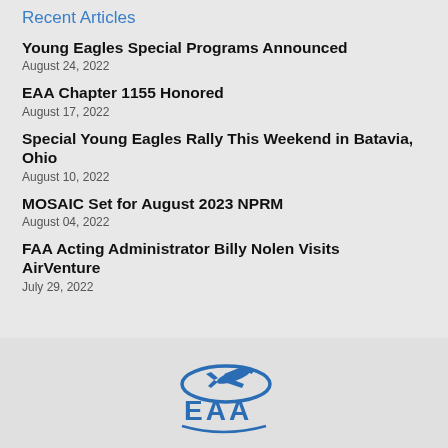Recent Articles
Young Eagles Special Programs Announced
August 24, 2022
EAA Chapter 1155 Honored
August 17, 2022
Special Young Eagles Rally This Weekend in Batavia, Ohio
August 10, 2022
MOSAIC Set for August 2023 NPRM
August 04, 2022
FAA Acting Administrator Billy Nolen Visits AirVenture
July 29, 2022
[Figure (logo): EAA (Experimental Aircraft Association) logo in blue — an airplane silhouette with an elliptical orbit ring above the letters EAA]